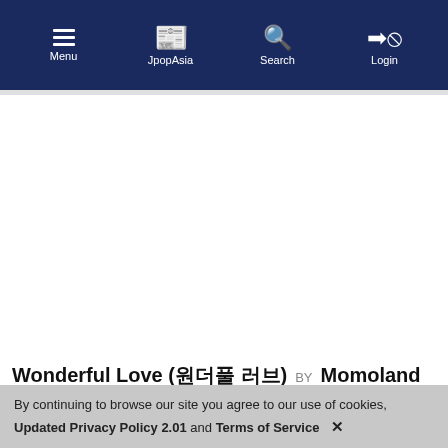Menu | JpopAsia | Search | Login
Wonderful Love (원더풀 러브) BY Momoland +LYRICS
Upvote ↑ 3
Released 25 Apr 2017
Genre Kpop
By continuing to browse our site you agree to our use of cookies, Updated Privacy Policy 2.01 and Terms of Service ✕